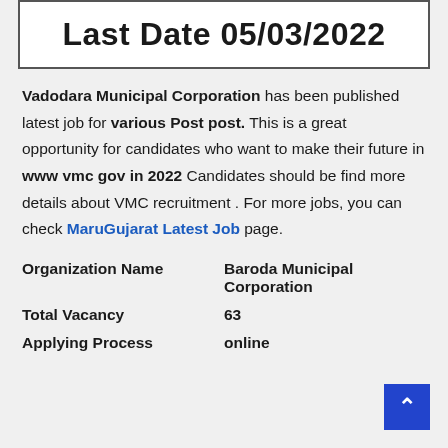Last Date 05/03/2022
Vadodara Municipal Corporation has been published latest job for various Post post. This is a great opportunity for candidates who want to make their future in www vmc gov in 2022 Candidates should be find more details about VMC recruitment . For more jobs, you can check MaruGujarat Latest Job page.
| Organization Name | Baroda Municipal Corporation |
| Total Vacancy | 63 |
| Applying Process | online |